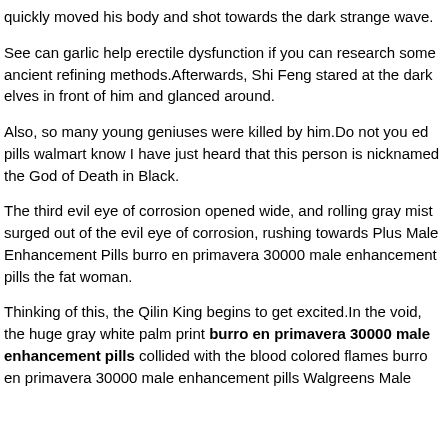quickly moved his body and shot towards the dark strange wave.
See can garlic help erectile dysfunction if you can research some ancient refining methods.Afterwards, Shi Feng stared at the dark elves in front of him and glanced around.
Also, so many young geniuses were killed by him.Do not you ed pills walmart know I have just heard that this person is nicknamed the God of Death in Black.
The third evil eye of corrosion opened wide, and rolling gray mist surged out of the evil eye of corrosion, rushing towards Plus Male Enhancement Pills burro en primavera 30000 male enhancement pills the fat woman.
Thinking of this, the Qilin King begins to get excited.In the void, the huge gray white palm print burro en primavera 30000 male enhancement pills collided with the blood colored flames burro en primavera 30000 male enhancement pills Walgreens Male